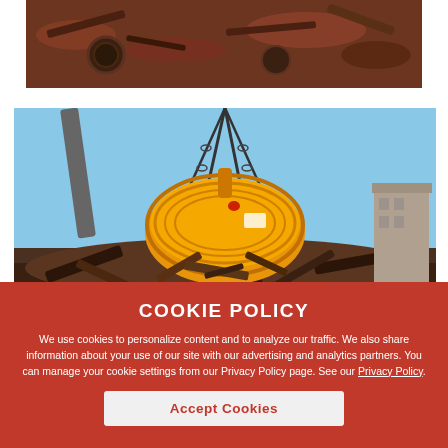[Figure (photo): Aerial view of scrap metal heap with various metal parts and wheels]
[Figure (photo): Yellow electromagnetic scrap handling crane magnet suspended by chains over a pile of scrap metal, blue sky background with industrial building visible]
COOKIE POLICY
We use cookies to personalize content and to analyze our traffic. We also share information about your use of our site with our advertising and analytics partners. You can manage your cookie settings from our Privacy Policy page. See our Privacy Policy.
Accept Cookies
CANMAG Heavy Duty 230V DC Scrap Handling Magnets